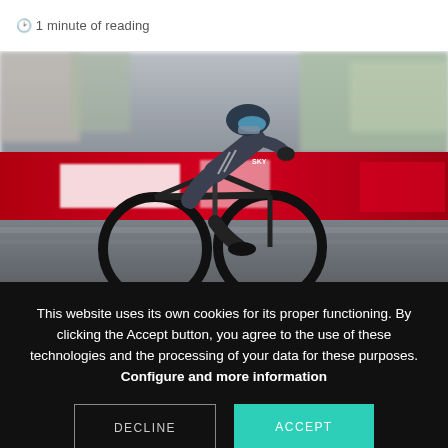🕐 1 minute of reading
[Figure (photo): A cyclist in a Sky team aero suit and helmet racing on a time trial bike at high speed, with motion-blurred crowd and red banners in the background.]
This website uses its own cookies for its proper functioning. By clicking the Accept button, you agree to the use of these technologies and the processing of your data for these purposes. Configure and more information
DECLINE
ACCEPT